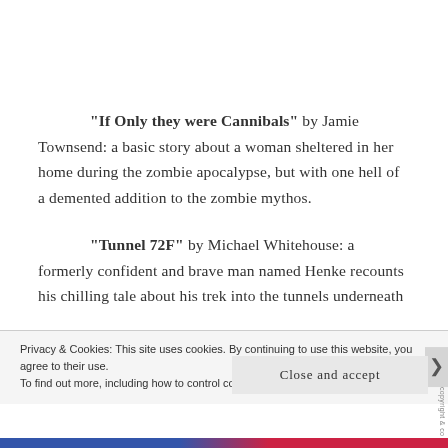“If Only they were Cannibals” by Jamie Townsend: a basic story about a woman sheltered in her home during the zombie apocalypse, but with one hell of a demented addition to the zombie mythos.
“Tunnel 72F” by Michael Whitehouse: a formerly confident and brave man named Henke recounts his chilling tale about his trek into the tunnels underneath
Privacy & Cookies: This site uses cookies. By continuing to use this website, you agree to their use.
To find out more, including how to control cookies, see here: Cookie Policy
Close and accept